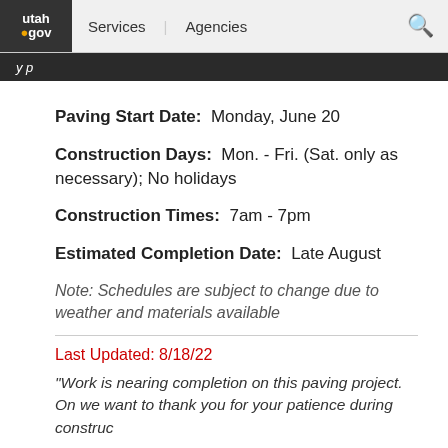utah.gov | Services | Agencies
y p
Paving Start Date:  Monday, June 20
Construction Days:  Mon. - Fri. (Sat. only as necessary); No holidays
Construction Times:  7am - 7pm
Estimated Completion Date:  Late August
Note: Schedules are subject to change due to weather and materials available
Last Updated: 8/18/22
"Work is nearing completion on this paving project.  On we want to thank you for your patience during construc
- Jeffrey Putzke, Public Involvement Manager